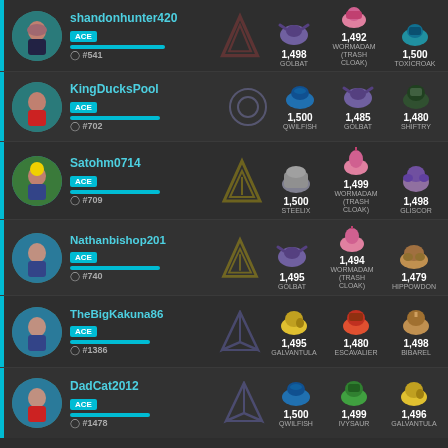shandonhunter420 ACE #541 | Golbat 1,498 | Wormadam (Trash Cloak) 1,492 | Toxicroak 1,500
KingDucksPool ACE #702 | Qwilfish 1,500 | Golbat 1,485 | Shiftry 1,480
Satohm0714 ACE #709 | Steelix 1,500 | Wormadam (Trash Cloak) 1,499 | Gliscor 1,498
Nathanbishop201 ACE #740 | Golbat 1,495 | Wormadam (Trash Cloak) 1,494 | Hippowdon 1,479
TheBigKakuna86 ACE #1386 | Galvantula 1,495 | Escavalier 1,480 | Bibarel 1,498
DadCat2012 ACE #1478 | Qwilfish 1,500 | Ivysaur 1,499 | Galvantula 1,496